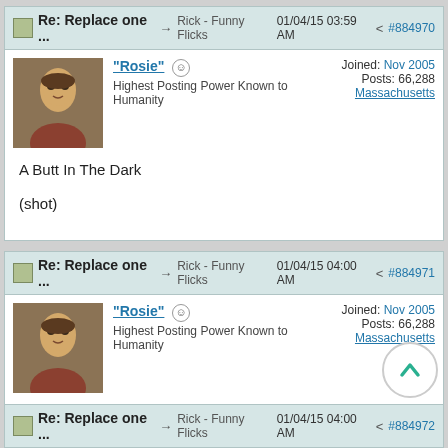Re: Replace one ... → Rick - Funny Flicks  01/04/15 03:59 AM  #884970
[Figure (photo): Mona Lisa avatar image]
"Rosie"  ☺
Highest Posting Power Known to Humanity
Joined: Nov 2005
Posts: 66,288
Massachusetts
A Butt In The Dark

(shot)
Re: Replace one ... → Rick - Funny Flicks  01/04/15 04:00 AM  #884971
[Figure (photo): Mona Lisa avatar image]
"Rosie"  ☺
Highest Posting Power Known to Humanity
Joined: Nov 2005
Posts: 66,288
Massachusetts
Rosemary's Butt

(baby)
Re: Replace one ... → Rick - Funny Flicks  01/04/15 04:00 AM  #884972